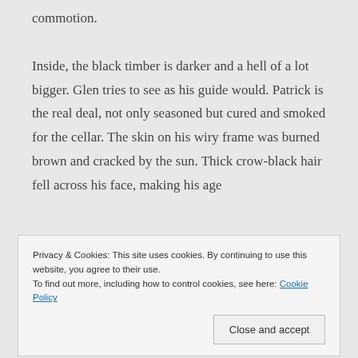commotion.
Inside, the black timber is darker and a hell of a lot bigger. Glen tries to see as his guide would. Patrick is the real deal, not only seasoned but cured and smoked for the cellar. The skin on his wiry frame was burned brown and cracked by the sun. Thick crow-black hair fell across his face, making his age
Privacy & Cookies: This site uses cookies. By continuing to use this website, you agree to their use.
To find out more, including how to control cookies, see here: Cookie Policy
Close and accept
The Band, Robbie Robertson.